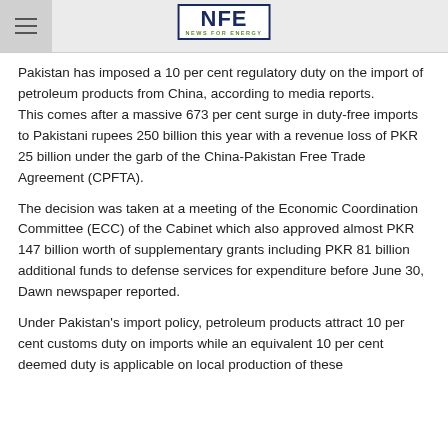NFE - News For Energy
Pakistan has imposed a 10 per cent regulatory duty on the import of petroleum products from China, according to media reports. This comes after a massive 673 per cent surge in duty-free imports to Pakistani rupees 250 billion this year with a revenue loss of PKR 25 billion under the garb of the China-Pakistan Free Trade Agreement (CPFTA).
The decision was taken at a meeting of the Economic Coordination Committee (ECC) of the Cabinet which also approved almost PKR 147 billion worth of supplementary grants including PKR 81 billion additional funds to defense services for expenditure before June 30, Dawn newspaper reported.
Under Pakistan's import policy, petroleum products attract 10 per cent customs duty on imports while an equivalent 10 per cent deemed duty is applicable on local production of these